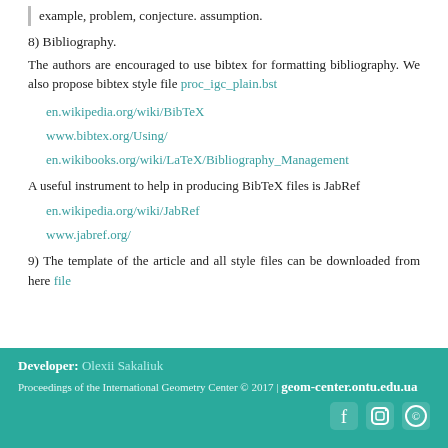example, problem, conjecture. assumption.
8) Bibliography.
The authors are encouraged to use bibtex for formatting bibliography. We also propose bibtex style file proc_igc_plain.bst
en.wikipedia.org/wiki/BibTeX
www.bibtex.org/Using/
en.wikibooks.org/wiki/LaTeX/Bibliography_Management
A useful instrument to help in producing BibTeX files is JabRef
en.wikipedia.org/wiki/JabRef
www.jabref.org/
9) The template of the article and all style files can be downloaded from here file
Developer: Olexii Sakaliuk
Proceedings of the International Geometry Center © 2017 | geom-center.ontu.edu.ua